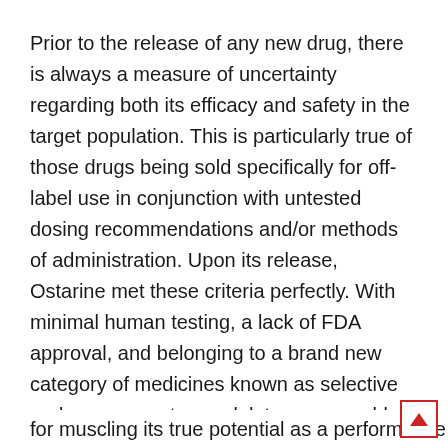Prior to the release of any new drug, there is always a measure of uncertainty regarding both its efficacy and safety in the target population. This is particularly true of those drugs being sold specifically for off-label use in conjunction with untested dosing recommendations and/or methods of administration. Upon its release, Ostarine met these criteria perfectly. With minimal human testing, a lack of FDA approval, and belonging to a brand new category of medicines known as selective androgen receptor modulators, we could only speculate as to what type of effects it might provide.
Sure, prior research had shown us what type of results were possible in untrained test subjects receiving baby dosages, but as bodybuilders, this was hardly sufficient for muscling its true potential as a performance enhancer